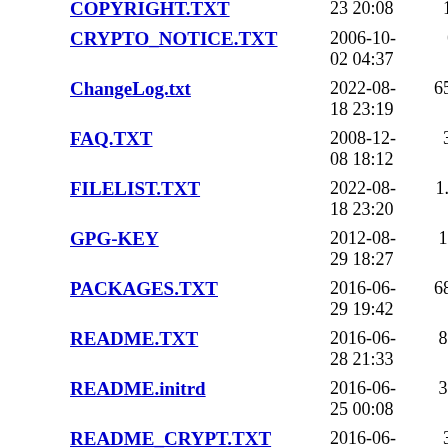COPYRIGHT.TXT  23 20:08  19K
CRYPTO_NOTICE.TXT  2006-10-02 04:37  616
ChangeLog.txt  2022-08-18 23:19  655K
FAQ.TXT  2008-12-08 18:12  33K
FILELIST.TXT  2022-08-18 23:20  1.3M
GPG-KEY  2012-08-29 18:27  1.5K
PACKAGES.TXT  2016-06-29 19:42  686K
README.TXT  2016-06-28 21:33  8.5K
README.initrd  2016-06-25 00:08  3.6K
README_CRYPT.TXT  2016-06-24 22:57  34K
README_LVM.TXT  2016-06-28 21:44  8.6K
README_RAID.TXT  2013-06-18 04:24  19K